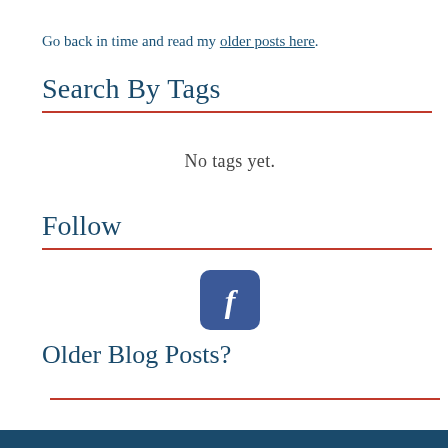Go back in time and read my older posts here.
Search By Tags
No tags yet.
Follow
[Figure (logo): Facebook logo icon — rounded square with white letter f on dark blue background]
Older Blog Posts?